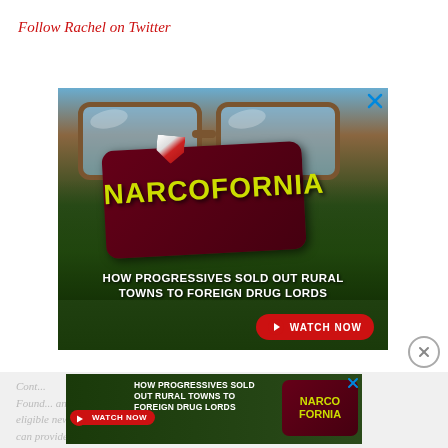Follow Rachel on Twitter
[Figure (photo): Advertisement for Narcofornia documentary: person wearing glasses with cannabis leaves, dark maroon card with 'NARCOFORNIA' in yellow text, subtitle 'HOW PROGRESSIVES SOLD OUT RURAL TOWNS TO FOREIGN DRUG LORDS', red WATCH NOW button]
[Figure (photo): Smaller repeat advertisement for Narcofornia at bottom: 'HOW PROGRESSIVES SOLD OUT RURAL TOWNS TO FOREIGN DRUG LORDS' with WATCH NOW button and Narcofornia logo]
Content on this page has been provided by a Found... any eligible news publisher that can provide a large...